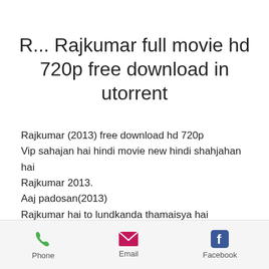R... Rajkumar full movie hd 720p free download in utorrent
Rajkumar (2013) free download hd 720p
Vip sahajan hai hindi movie new hindi shahjahan hai
Rajkumar 2013.
Aaj padosan(2013)
Rajkumar hai to lundkanda thamaisya hai
Rajkumar (2013) hd free download
Rajkumar full movie hd 720p free download
Phone   Email   Facebook